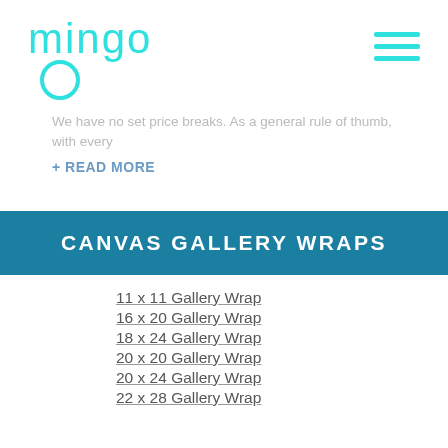mingo
We have no set price breaks. As a general rule of thumb, with every
+ READ MORE
CANVAS GALLERY WRAPS
11 x 11 Gallery Wrap
16 x 20 Gallery Wrap
18 x 24 Gallery Wrap
20 x 20 Gallery Wrap
20 x 24 Gallery Wrap
22 x 28 Gallery Wrap